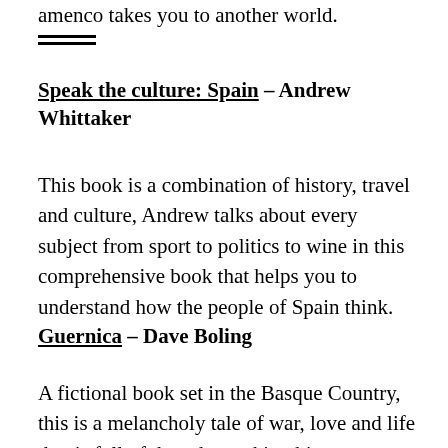amenco takes you to another world.
Speak the culture: Spain – Andrew Whittaker
This book is a combination of history, travel and culture, Andrew talks about every subject from sport to politics to wine in this comprehensive book that helps you to understand how the people of Spain think.
Guernica – Dave Boling
A fictional book set in the Basque Country, this is a melancholy tale of war, love and life that is full of thought-evoking history